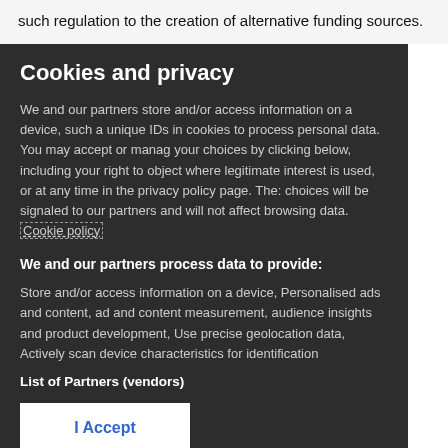such regulation to the creation of alternative funding sources.
Cookies and privacy
We and our partners store and/or access information on a device, such as unique IDs in cookies to process personal data. You may accept or manage your choices by clicking below, including your right to object where legitimate interest is used, or at any time in the privacy policy page. These choices will be signaled to our partners and will not affect browsing data. Cookie policy
We and our partners process data to provide:
Store and/or access information on a device, Personalised ads and content, ad and content measurement, audience insights and product development, Use precise geolocation data, Actively scan device characteristics for identification
List of Partners (vendors)
I Accept